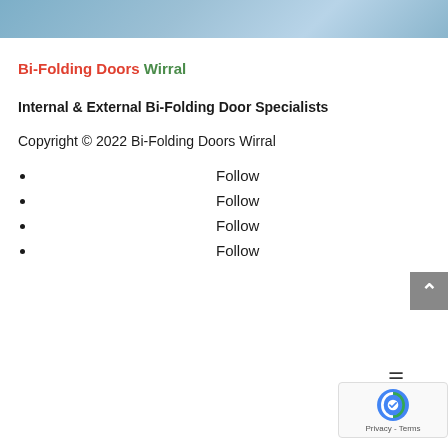[Figure (photo): Top image strip showing a partial photo, likely of bi-folding doors or a related interior/exterior space]
Bi-Folding Doors Wirral
Internal & External Bi-Folding Door Specialists
Copyright © 2022 Bi-Folding Doors Wirral
Follow
Follow
Follow
Follow